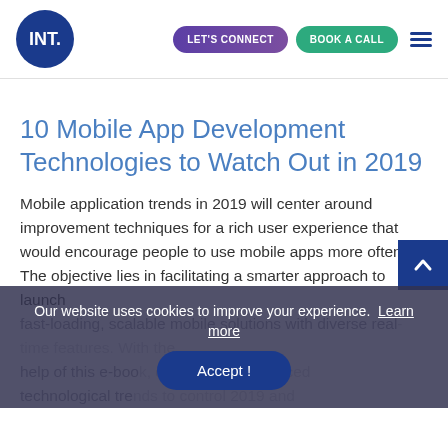INT. | LET'S CONNECT | BOOK A CALL
10 Mobile App Development Technologies to Watch Out in 2019
Mobile application trends in 2019 will center around improvement techniques for a rich user experience that would encourage people to use mobile apps more often. The objective lies in facilitating a smarter approach to launch fast-loading, scalable mobile solutions with diverse features. With the help of this e-book, discover the advanced technological trends to control 2019 and...
Our website uses cookies to improve your experience. Learn more
Accept !